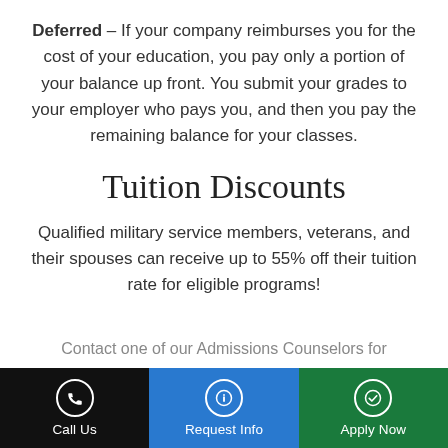Deferred – If your company reimburses you for the cost of your education, you pay only a portion of your balance up front. You submit your grades to your employer who pays you, and then you pay the remaining balance for your classes.
Tuition Discounts
Qualified military service members, veterans, and their spouses can receive up to 55% off their tuition rate for eligible programs!
Contact one of our Admissions Counselors for
[Figure (infographic): Bottom navigation bar with three buttons: Call Us (black background, phone icon), Request Info (blue background, info icon), Apply Now (green background, checkmark icon)]